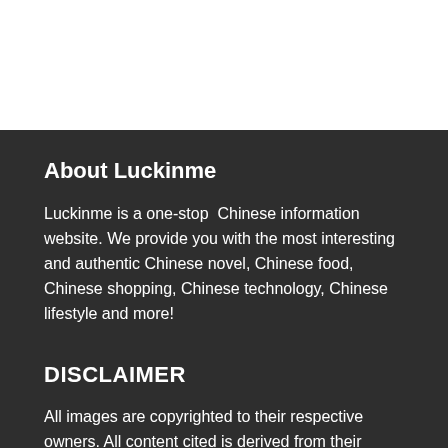About Luckinme
Luckinme is a one-stop  Chinese information website. We provide you with the most interesting and authentic Chinese novel, Chinese food, Chinese shopping, Chinese technology, Chinese lifestyle and more!
DISCLAIMER
All images are copyrighted to their respective owners. All content cited is derived from their respective sources. If you believe we have used your copyrighted content without